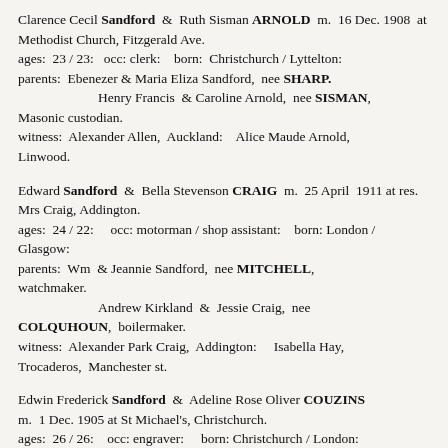Clarence Cecil Sandford & Ruth Sisman ARNOLD m. 16 Dec. 1908 at Methodist Church, Fitzgerald Ave. ages: 23 / 23: occ: clerk: born: Christchurch / Lyttelton: parents: Ebenezer & Maria Eliza Sandford, nee SHARP. Henry Francis & Caroline Arnold, nee SISMAN, Masonic custodian. witness: Alexander Allen, Auckland: Alice Maude Arnold, Linwood.
Edward Sandford & Bella Stevenson CRAIG m. 25 April 1911 at res. Mrs Craig, Addington. ages: 24 / 22: occ: motorman / shop assistant: born: London / Glasgow: parents: Wm & Jeannie Sandford, nee MITCHELL, watchmaker. Andrew Kirkland & Jessie Craig, nee COLQUHOUN, boilermaker. witness: Alexander Park Craig, Addington: Isabella Hay, Trocaderos, Manchester st.
Edwin Frederick Sandford & Adeline Rose Oliver COUZINS m. 1 Dec. 1905 at St Michael's, Christchurch. ages: 26 / 26: occ: engraver: born: Christchurch / London: parents: Frederick William & Maria Masterton, organ builder,